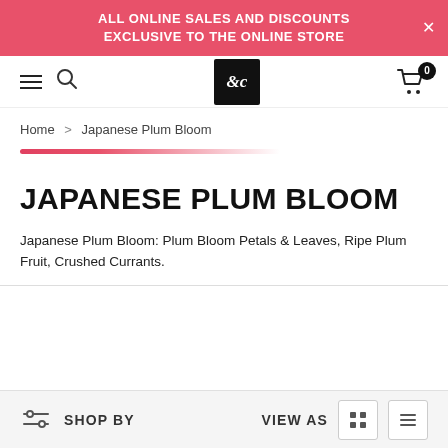ALL ONLINE SALES AND DISCOUNTS EXCLUSIVE TO THE ONLINE STORE
[Figure (screenshot): Navigation bar with hamburger menu, search icon, brand logo (script letters on black background), and shopping cart icon with badge showing 0]
Home > Japanese Plum Bloom
JAPANESE PLUM BLOOM
Japanese Plum Bloom: Plum Bloom Petals & Leaves, Ripe Plum Fruit, Crushed Currants.
SHOP BY   VIEW AS